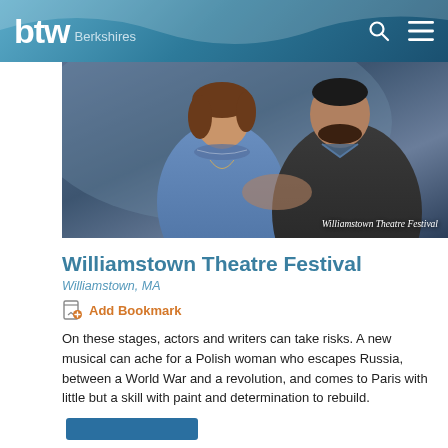btw Berkshires
[Figure (photo): Two people — a woman in a blue embroidered top and a man in a dark blazer — sitting close together in a theatre production scene. Caption overlay reads 'Williamstown Theatre Festival'.]
Williamstown Theatre Festival
Williamstown, MA
Add Bookmark
On these stages, actors and writers can take risks. A new musical can ache for a Polish woman who escapes Russia, between a World War and a revolution, and comes to Paris with little but a skill with paint and determination to rebuild.